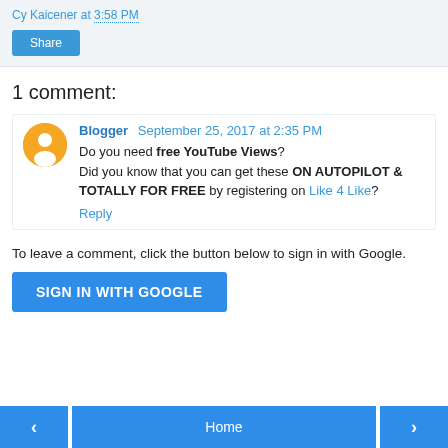Cy Kaicener at 3:58 PM
Share
1 comment:
Blogger  September 25, 2017 at 2:35 PM
Do you need free YouTube Views? Did you know that you can get these ON AUTOPILOT & TOTALLY FOR FREE by registering on Like 4 Like?
Reply
To leave a comment, click the button below to sign in with Google.
SIGN IN WITH GOOGLE
< Home >